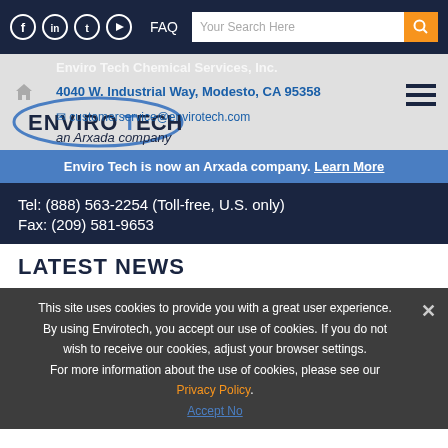Social icons (Facebook, LinkedIn, Twitter, YouTube), FAQ, Your Search Here, search button
[Figure (logo): EnviroTech Chemical Services, Inc. logo with 'an Arxada company' tagline. Text overlay: Enviro Tech Chemical Services, Inc., address, customerservice@envirotech.com]
Enviro Tech is now an Arxada company. Learn More
Tel: (888) 563-2254 (Toll-free, U.S. only)
Fax: (209) 581-9653
LATEST NEWS
This site uses cookies to provide you with a great user experience. By using Envirotech, you accept our use of cookies. If you do not wish to receive our cookies, adjust your browser settings. For more information about the use of cookies, please see our Privacy Policy.
Accept No